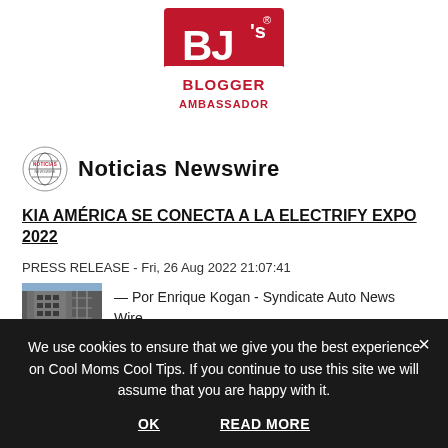[Figure (logo): BJ's Blogger Ambassador logo — red square with white BJ's lettering and red BLOGGER AMBASSADOR text on white bar]
[Figure (logo): Noticias Newswire small circular icon logo]
Noticias Newswire
KIA AMÉRICA SE CONECTA A LA ELECTRIFY EXPO 2022
PRESS RELEASE - Fri, 26 Aug 2022 21:07:41
[Figure (photo): Small thumbnail photo of a building with construction scaffolding]
— Por Enrique Kogan - Syndicate Auto News Wire —
We use cookies to ensure that we give you the best experience on Cool Moms Cool Tips. If you continue to use this site we will assume that you are happy with it.
OK
READ MORE